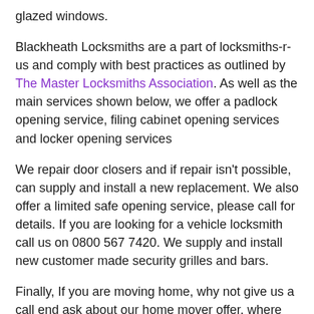glazed windows.
Blackheath Locksmiths are a part of locksmiths-r-us and comply with best practices as outlined by The Master Locksmiths Association. As well as the main services shown below, we offer a padlock opening service, filing cabinet opening services and locker opening services
We repair door closers and if repair isn't possible, can supply and install a new replacement. We also offer a limited safe opening service, please call for details. If you are looking for a vehicle locksmith call us on 0800 567 7420. We supply and install new customer made security grilles and bars.
Finally, If you are moving home, why not give us a call end ask about our home mover offer, where we offer a package price to replace the locks to your new home and whilst there we will carry out a free